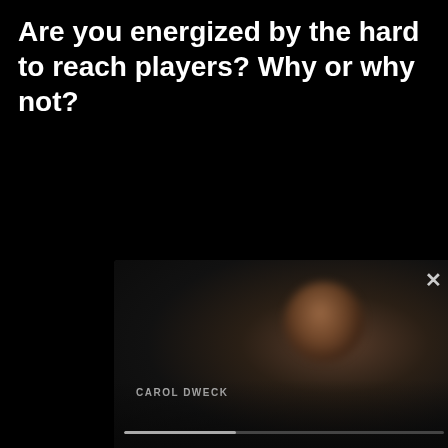Are you energized by the hard to reach players? Why or why not?
[Figure (screenshot): Video player screenshot showing a dark video with a person (Carol Dweck) visible on screen. The video has a close button (X) in the top right corner, a lower-third name label reading 'CAROL DWECK', and a progress bar at the bottom.]